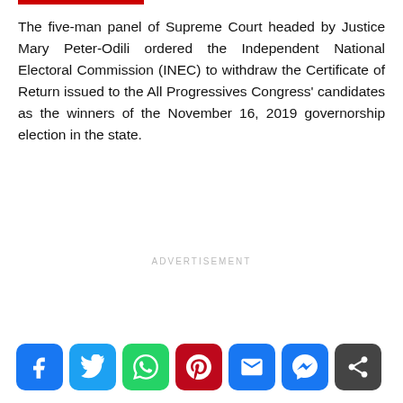The five-man panel of Supreme Court headed by Justice Mary Peter-Odili ordered the Independent National Electoral Commission (INEC) to withdraw the Certificate of Return issued to the All Progressives Congress' candidates as the winners of the November 16, 2019 governorship election in the state.
ADVERTISEMENT